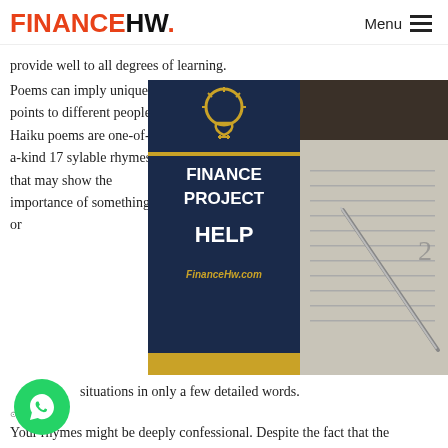FINANCEHW.  Menu
provide well to all degrees of learning.
[Figure (infographic): Finance Project Help promotional banner with dark navy left panel showing lightbulb icon, gold dividing line, text FINANCE PROJECT HELP, FinanceHw.com URL, gold bottom strip, and right side showing photo of notebook and pen on desk]
Poems can imply unique points to different people. Haiku poems are one-of-a-kind 17 sylable rhymes that may show the importance of something or
situations in only a few detailed words.
Your rhymes might be deeply confessional. Despite the fact that the